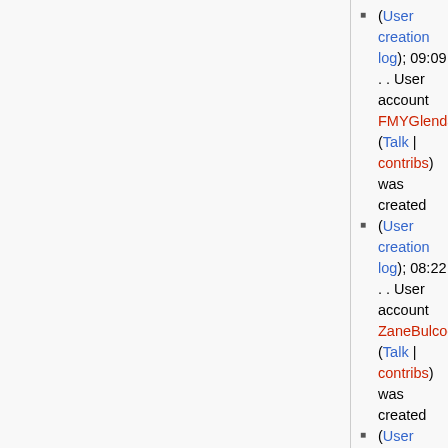(User creation log); 09:09 . . User account FMYGlenda93 (Talk | contribs) was created
(User creation log); 08:22 . . User account ZaneBulcock63 (Talk | contribs) was created
(User creation log); 08:22 . . User account ChauEchevarria9 (Talk | contribs) was created
(User creation log); 08:06 . . User account NevilleMessier3 (Talk | contribs) was created
(User creation log); 08:04 . . User account MaryanneHelbig2 (Talk | contribs) was created
(User creation log); 06:29 . . User account AstridHanger612 (Talk | contribs) was created
(User creation log); 05:39 . . User account FerminU42436953 (Talk | contribs) was created
(User creation log); 05:38 . . User account CharlesO32 (Talk | contribs) was created
(User creation log); 05:36 . . User account